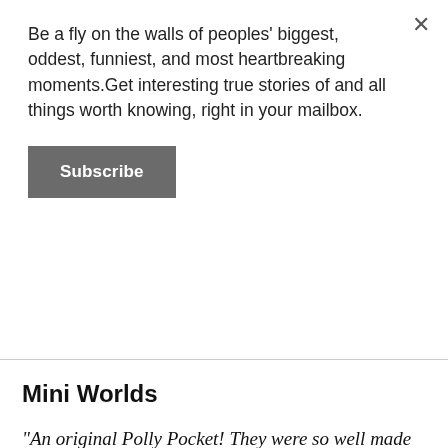Be a fly on the walls of peoples' biggest, oddest, funniest, and most heartbreaking moments.Get interesting true stories of and all things worth knowing, right in your mailbox.
Subscribe
Mini Worlds
"An original Polly Pocket! They were so well made and I just love how perfectly miniature